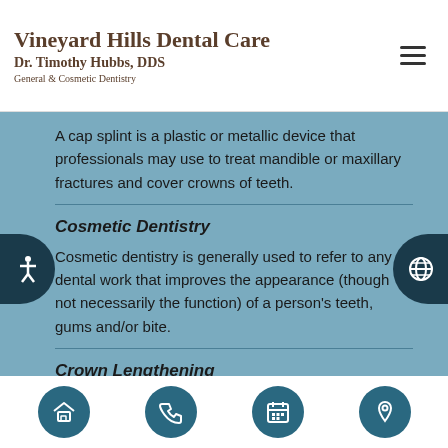Vineyard Hills Dental Care
Dr. Timothy Hubbs, DDS
General & Cosmetic Dentistry
A cap splint is a plastic or metallic device that professionals may use to treat mandible or maxillary fractures and cover crowns of teeth.
Cosmetic Dentistry
Cosmetic dentistry is generally used to refer to any dental work that improves the appearance (though not necessarily the function) of a person's teeth, gums and/or bite.
Crown Lengthening